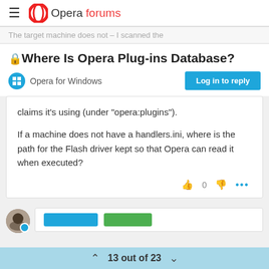Opera forums
The target machine does not – I scanned the
🔒Where Is Opera Plug-ins Database?
Opera for Windows
claims it's using (under "opera:plugins").

If a machine does not have a handlers.ini, where is the path for the Flash driver kept so that Opera can read it when executed?
13 out of 23